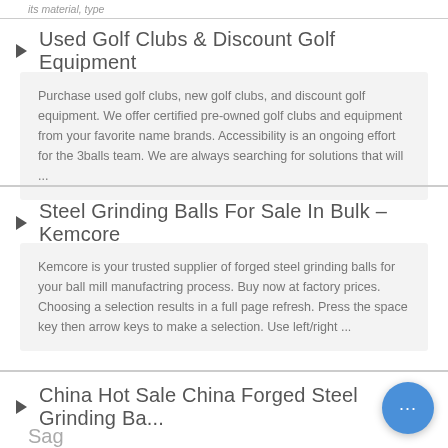its material, type
Used Golf Clubs & Discount Golf Equipment
Purchase used golf clubs, new golf clubs, and discount golf equipment. We offer certified pre-owned golf clubs and equipment from your favorite name brands. Accessibility is an ongoing effort for the 3balls team. We are always searching for solutions that will ...
Steel Grinding Balls For Sale In Bulk – Kemcore
Kemcore is your trusted supplier of forged steel grinding balls for your ball mill manufactring process. Buy now at factory prices. Choosing a selection results in a full page refresh. Press the space key then arrow keys to make a selection. Use left/right ...
China Hot Sale China Forged Steel Grinding Ba... Sag